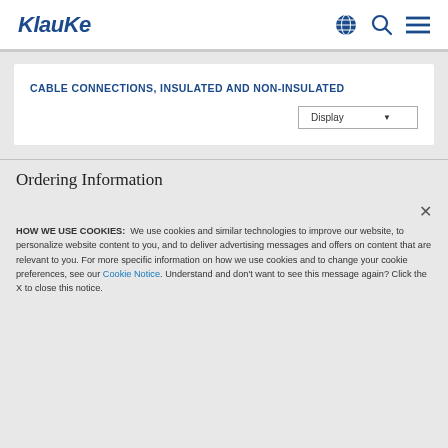Klauke
CABLE CONNECTIONS, INSULATED AND NON-INSULATED
Ordering Information
HOW WE USE COOKIES: We use cookies and similar technologies to improve our website, to personalize website content to you, and to deliver advertising messages and offers on content that are relevant to you. For more specific information on how we use cookies and to change your cookie preferences, see our Cookie Notice. Understand and don't want to see this message again? Click the X to close this notice.